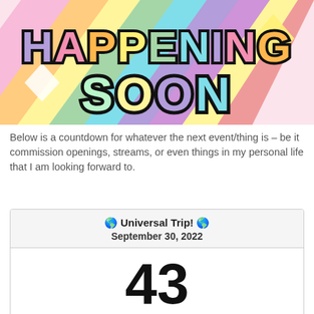[Figure (illustration): Colorful banner reading 'HAPPENING SOON' in large bubbly letters with rainbow gradient background, diamond shapes, and retro style design]
Below is a countdown for whatever the next event/thing is – be it commission openings, streams, or even things in my personal life that I am looking forward to.
| 🌎 Universal Trip! 🌎 | September 30, 2022 |
| 43 |  |